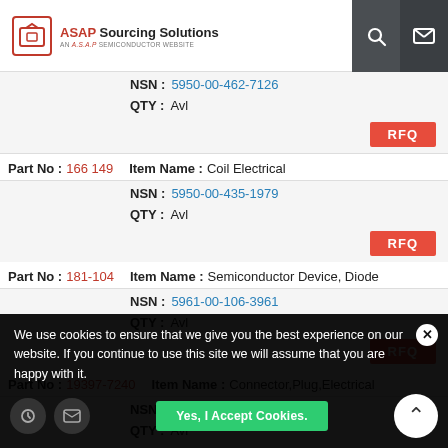[Figure (logo): ASAP Sourcing Solutions logo - AN A.S.A.P SEMICONDUCTOR WEBSITE]
| Part No | Item Name | NSN | QTY |
| --- | --- | --- | --- |
| 166 149 | Coil Electrical | 5950-00-435-1979 | Avl |
| 181-104 | Semiconductor Device, Diode | 5961-00-106-3961 | Avl |
| 19397-7240 | Connector,Plug,Electrical | 5935-01-525-4181 | Avl |
NSN: 5950-00-462-7126 QTY: Avl
Part No: 166 149  Item Name: Coil Electrical  NSN: 5950-00-435-1979  QTY: Avl
Part No: 181-104  Item Name: Semiconductor Device, Diode  NSN: 5961-00-106-3961  QTY: Avl
Part No: 19397-7240  Item Name: Connector,Plug,Electrical  NSN: 5935-01-525-4181  QTY: Avl
We use cookies to ensure that we give you the best experience on our website. If you continue to use this site we will assume that you are happy with it.